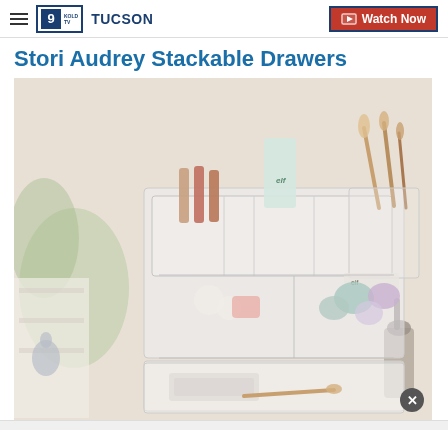9 TUCSON | Watch Now
Stori Audrey Stackable Drawers
[Figure (photo): Clear acrylic stackable makeup organizer (Stori Audrey Stackable Drawers) filled with makeup brushes, lipsticks, eyeshadow palettes, elf products, beauty sponges, and makeup brushes, displayed on a white surface with a bright bathroom background.]